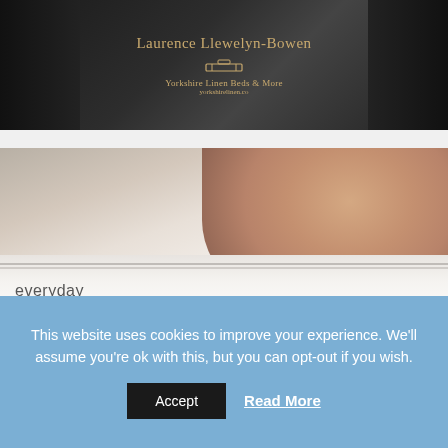[Figure (photo): Top banner showing Laurence Llewelyn-Bowen name in gold on dark background with Yorkshire Linen Beds & More logo]
[Figure (photo): Woman peeking over white duvet/pillow with 'everyday Essentials!' text overlay and Yorkshire Linen Beds & More logo]
This website uses cookies to improve your experience. We'll assume you're ok with this, but you can opt-out if you wish.
Accept
Read More